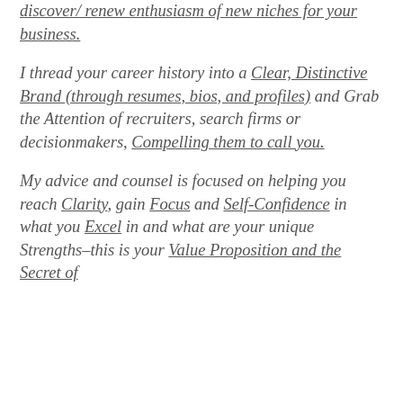discover/ renew enthusiasm of new niches for your business.
I thread your career history into a Clear, Distinctive Brand (through resumes, bios, and profiles) and Grab the Attention of recruiters, search firms or decisionmakers, Compelling them to call you.
My advice and counsel is focused on helping you reach Clarity, gain Focus and Self-Confidence in what you Excel in and what are your unique Strengths–this is your Value Proposition and the Secret of